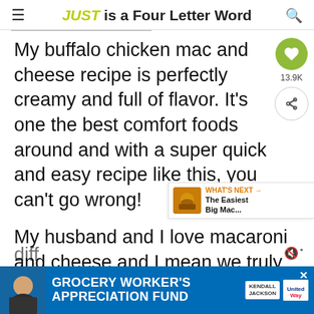JUST is a Four Letter Word
My buffalo chicken mac and cheese recipe is perfectly creamy and full of flavor. It's one the best comfort foods around and with a super quick and easy recipe like this, you can't go wrong!
My husband and I love macaroni and cheese and I mean we truly love it. There is nothing like a hearty meal, especially during colder seasons. We love to spice it up in diff
[Figure (infographic): What's Next banner: The Easiest Big Mac...]
[Figure (infographic): Ad banner: Grocery Worker's Appreciation Fund with Kendall Jackson and United Way logos]